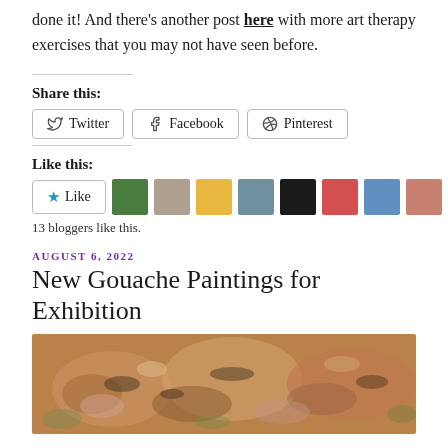done it! And there's another post here with more art therapy exercises that you may not have seen before.
Share this:
[Figure (screenshot): Three share buttons: Twitter, Facebook, Pinterest]
Like this:
[Figure (screenshot): Like button and 10 blogger avatar thumbnails]
13 bloggers like this.
AUGUST 6, 2022
New Gouache Paintings for Exhibition
[Figure (photo): Close-up of an abstract gouache painting in warm earth tones, pinks, oranges, and greens]